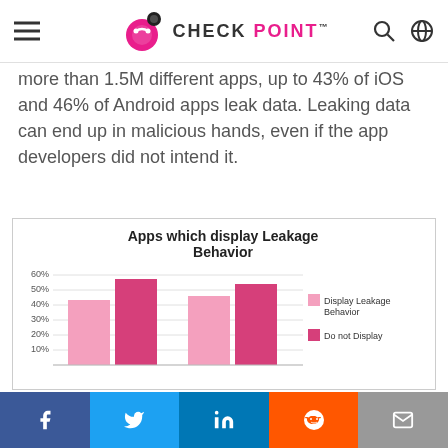Check Point
more than 1.5M different apps, up to 43% of iOS and 46% of Android apps leak data. Leaking data can end up in malicious hands, even if the app developers did not intend it.
[Figure (grouped-bar-chart): Apps which display Leakage Behavior]
f  Twitter  in  Reddit  Email